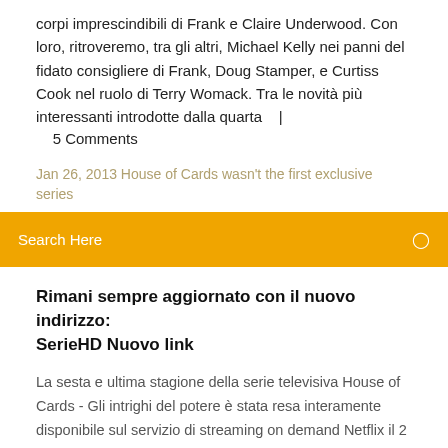corpi imprescindibili di Frank e Claire Underwood. Con loro, ritroveremo, tra gli altri, Michael Kelly nei panni del fidato consigliere di Frank, Doug Stamper, e Curtiss Cook nel ruolo di Terry Womack. Tra le novità più interessanti introdotte dalla quarta   |
5 Comments
Jan 26, 2013 House of Cards wasn't the first exclusive series
Search Here
Rimani sempre aggiornato con il nuovo indirizzo: SerieHD Nuovo link
La sesta e ultima stagione della serie televisiva House of Cards - Gli intrighi del potere è stata resa interamente disponibile sul servizio di streaming on demand Netflix il 2 novembre 2018.. In Italia, la stagione è stata resa disponibile il 2 novembre 2018 su Sky Box Sets e trasmessa su Sky Atlantic dal 2 al 23 novembre 2018. Serie Streaming : 1er site Film Streaming GRATUIT 2018 en francais, films streaming complets : Serie-Streaming est